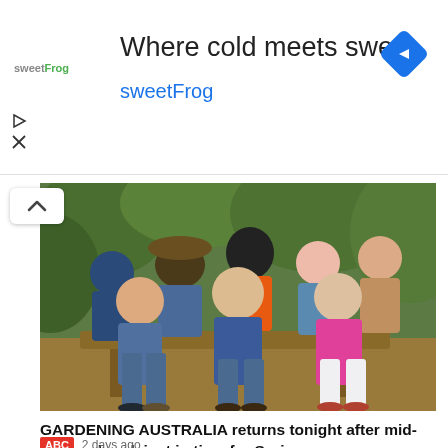[Figure (screenshot): SweetFrog advertisement banner: logo top-left, headline 'Where cold meets sweet', subheading 'sweetFrog' in blue, navigation arrow diamond icon top-right]
[Figure (photo): Group photo of eight people (TV show cast) sitting and standing outdoors in a garden setting on a wooden bench, surrounded by green foliage]
GARDENING AUSTRALIA returns tonight after mid-season break just in time for Spring
ABC  2 days ago